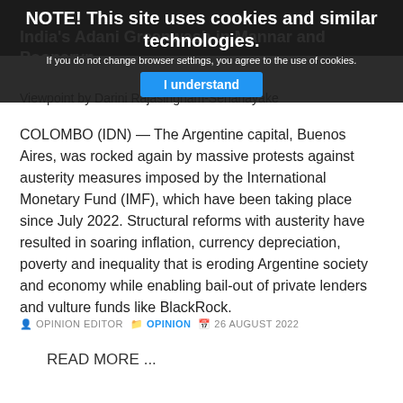NOTE! This site uses cookies and similar technologies.
If you do not change browser settings, you agree to the use of cookies.
I understand
India's Adani Greenwash in Mannar and Pooneryn
Viewpoint by Darini Rajasingham-Senanayake
COLOMBO (IDN) — The Argentine capital, Buenos Aires, was rocked again by massive protests against austerity measures imposed by the International Monetary Fund (IMF), which have been taking place since July 2022. Structural reforms with austerity have resulted in soaring inflation, currency depreciation, poverty and inequality that is eroding Argentine society and economy while enabling bail-out of private lenders and vulture funds like BlackRock.
OPINION EDITOR   OPINION   26 AUGUST 2022
READ MORE ...